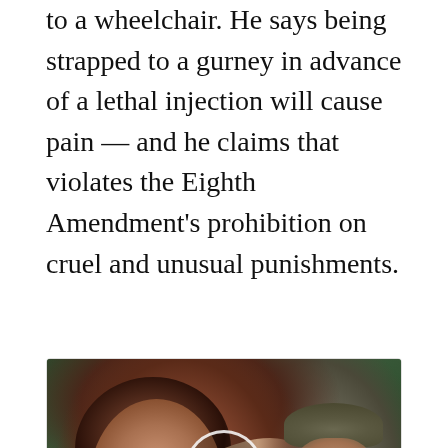to a wheelchair. He says being strapped to a gurney in advance of a lethal injection will cause pain — and he claims that violates the Eighth Amendment's prohibition on cruel and unusual punishments.
[Figure (photo): Video thumbnail showing a woman in a grey blazer pointing with her finger, a man in a hat behind her, green trees in background. A play button circle is overlaid in the center.]
Everyone Who Believes In God Should Watch This